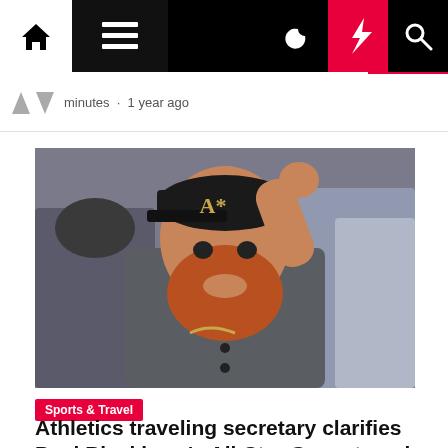Navigation bar with home, menu, moon, bolt, and search icons
minutes · 1 year ago
[Figure (photo): Oakland Athletics player wearing A's cap and grey Nike uniform, raising hand, with crowd in background]
Sports & Travel
Athletics traveling secretary clarifies Paul Blackburn's All-Star Game travel